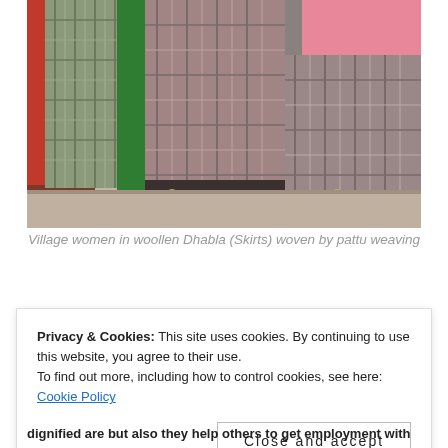[Figure (photo): Photograph showing the lower bodies and feet of several village women wearing colorful woollen Dhabla (skirts) woven by pattu weaving. The skirts are plaid/checkered in muted tones of grey, green, and red. Various footwear including sandals and leather shoes are visible.]
Village women in woollen Dhabla (Skirts) woven by pattu weaving
Privacy & Cookies: This site uses cookies. By continuing to use this website, you agree to their use.
To find out more, including how to control cookies, see here: Cookie Policy
Close and accept
dignified are but also they help others to get employment with